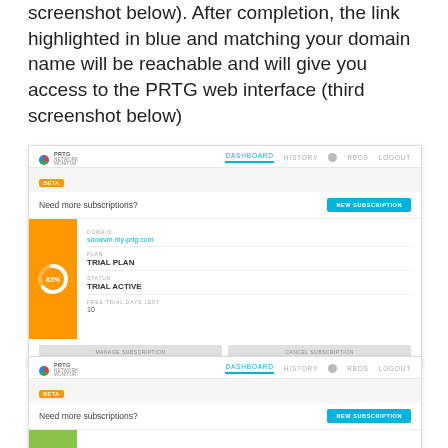screenshot below). After completion, the link highlighted in blue and matching your domain name will be reachable and will give you access to the PRTG web interface (third screenshot below)
[Figure (screenshot): PRTG Network Monitor web interface screenshot showing the Dashboard tab, BETA label, 'Need more subscriptions?' bar with 'NEW SUBSCRIPTION' button, and a subscription card with orange sidebar showing 83% donut chart, domain 'snowvm.my-prtg.com', TRIAL PLAN, TRIAL ACTIVE status, 10 free trial days left, and MANAGE SUBSCRIPTION / CANCEL SUBSCRIPTION buttons.]
[Figure (screenshot): Second PRTG Network Monitor web interface screenshot showing Dashboard tab, BETA label, 'Need more subscriptions?' bar with 'NEW SUBSCRIPTION' button, and a green sidebar card partially visible at bottom.]